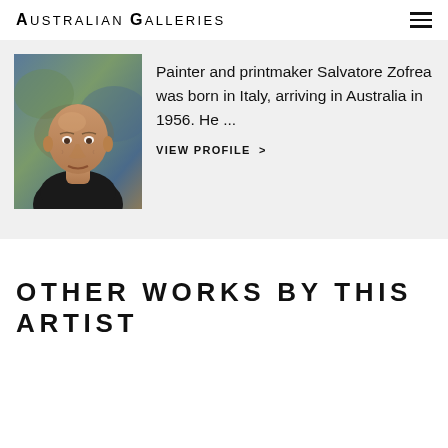Australian Galleries
[Figure (photo): Portrait photo of Salvatore Zofrea, an older bald man wearing a dark shirt, with a colorful painted background behind him.]
Painter and printmaker Salvatore Zofrea was born in Italy, arriving in Australia in 1956. He ...
VIEW PROFILE  >
OTHER WORKS BY THIS ARTIST